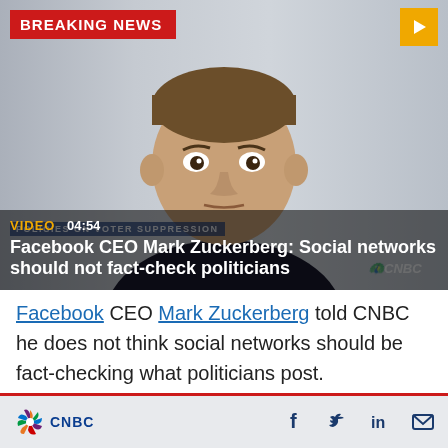[Figure (screenshot): CNBC Breaking News video thumbnail showing Mark Zuckerberg in a video call. Breaking News banner in red top left. Yellow play button top right. Video title overlay: 'Facebook CEO Mark Zuckerberg: Social networks should not fact-check politicians'. Video duration 04:54.]
Facebook CEO Mark Zuckerberg told CNBC he does not think social networks should be fact-checking what politicians post.
Zuckerberg's comment came after "Squawk
CNBC [logo] [Facebook icon] [Twitter icon] [LinkedIn icon] [Email icon]